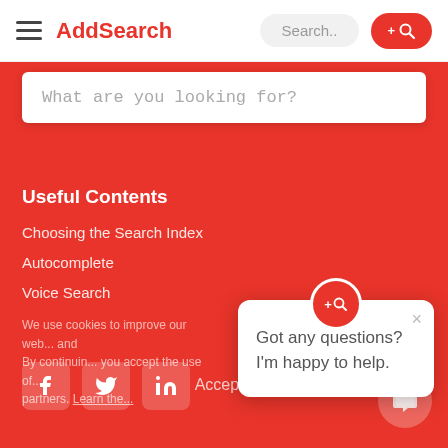AddSearch — navigation bar with hamburger menu, Search.. pill, and +Q button
What are you looking for?
Useful Contents
Choosing the Search Index
Autocomplete
Voice Search
We use cookies to improve our web... and By continuing... you accept the use... partners. Learn the...
Got any questions? I'm happy to help.
[Figure (screenshot): Social media icons: Facebook, Twitter, LinkedIn in white rounded boxes on red background]
Accept